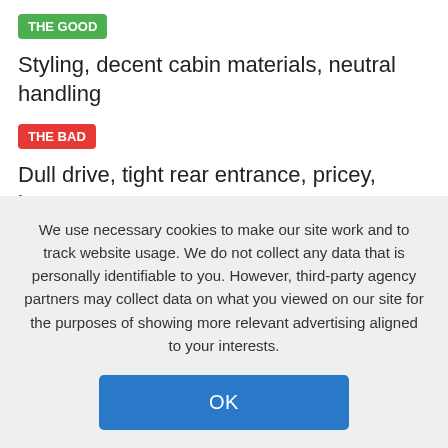THE GOOD
Styling, decent cabin materials, neutral handling
THE BAD
Dull drive, tight rear entrance, pricey, heavy
Audi RS 5 2015 Overview
We use necessary cookies to make our site work and to track website usage. We do not collect any data that is personally identifiable to you. However, third-party agency partners may collect data on what you viewed on our site for the purposes of showing more relevant advertising aligned to your interests.
OK